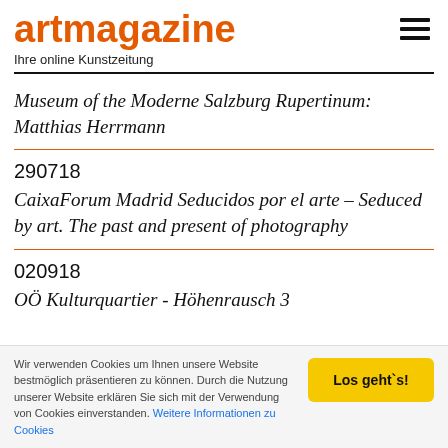artmagazine
Ihre online Kunstzeitung
Museum of the Moderne Salzburg Rupertinum: Matthias Herrmann
290718
CaixaForum Madrid Seducidos por el arte – Seduced by art. The past and present of photography
020918
OÖ Kulturquartier - Höhenrausch 3
Wir verwenden Cookies um Ihnen unsere Website bestmöglich präsentieren zu können. Durch die Nutzung unserer Website erklären Sie sich mit der Verwendung von Cookies einverstanden. Weitere Informationen zu Cookies